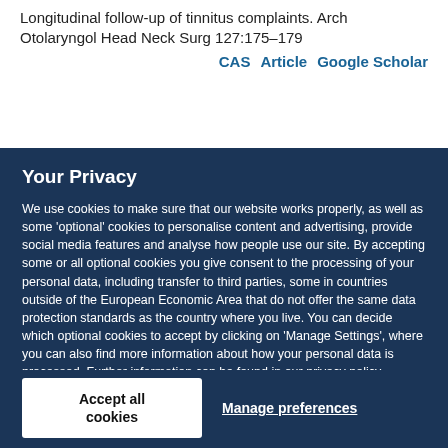Longitudinal follow-up of tinnitus complaints. Arch Otolaryngol Head Neck Surg 127:175–179
CAS   Article   Google Scholar
Your Privacy
We use cookies to make sure that our website works properly, as well as some 'optional' cookies to personalise content and advertising, provide social media features and analyse how people use our site. By accepting some or all optional cookies you give consent to the processing of your personal data, including transfer to third parties, some in countries outside of the European Economic Area that do not offer the same data protection standards as the country where you live. You can decide which optional cookies to accept by clicking on 'Manage Settings', where you can also find more information about how your personal data is processed. Further information can be found in our privacy policy.
Accept all cookies
Manage preferences